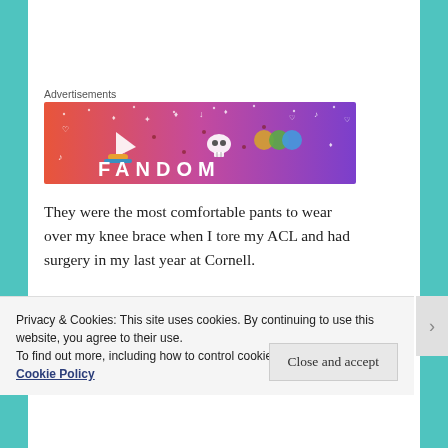Advertisements
[Figure (illustration): Fandom advertisement banner with colorful gradient background (orange to purple), featuring a sailboat illustration, skull, dice, and the word FANDOM in large letters with decorative icons.]
They were the most comfortable pants to wear over my knee brace when I tore my ACL and had surgery in my last year at Cornell.
Privacy & Cookies: This site uses cookies. By continuing to use this website, you agree to their use.
To find out more, including how to control cookies, see here:
Cookie Policy
Close and accept